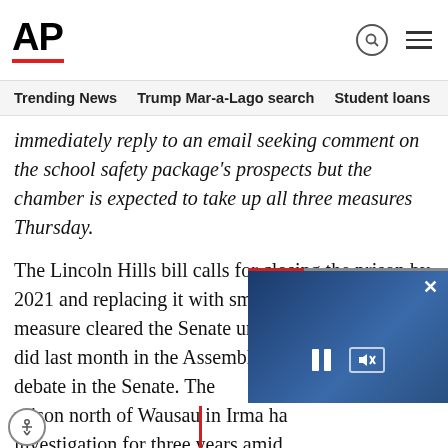AP
Trending News  Trump Mar-a-Lago search  Student loans  U.S.
immediately reply to an email seeking comment on the school safety package's prospects but the chamber is expected to take up all three measures Thursday.
The Lincoln Hills bill calls for closing the prison by 2021 and replacing it with smaller facilities. The measure cleared the Senate unanimously, just as it did last month in the Assembly. There was no debate in the Senate. The prison north of Wausau in Irma has been under investigation for three years amid allegations of abuse by guards.
The Senate version of the prison bill is the same as what the Assembly passed, but it...
[Figure (screenshot): Video overlay showing a partially obscured video player with blue background, pause and mute buttons, close (X) button, and a red progress bar element overlaid on the article text.]